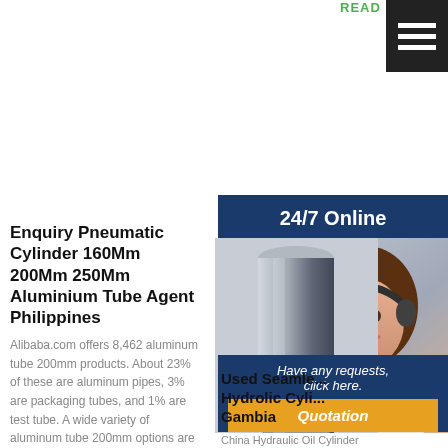READ MORE
[Figure (screenshot): Hamburger menu icon button with three white horizontal bars on black background]
24/7 Online
[Figure (photo): Customer service representative woman wearing headset smiling, and a cylindrical metal tube in background]
Enquiry Pneumatic Cylinder 160Mm 200Mm 250Mm Aluminium Tube Agent Philippines
Alibaba.com offers 8,462 aluminum tube 200mm products. About 23% of these are aluminum pipes, 3% are packaging tubes, and 1% are test tube. A wide variety of aluminum tube 200mm options are available to you, such as 6000
Used Seamle... Hydrolic Cyli... Gambia
Have any requests, click here.
Quotation
China Hydraulic Oil Cylinder Tube - Select 2020 Hydraulic Oil Cylinder Tube products from